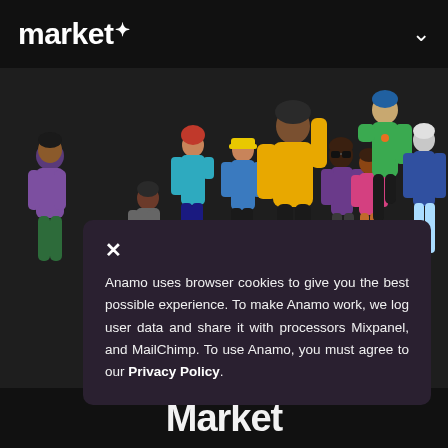market+
[Figure (illustration): Colorful illustrated group of diverse people celebrating, on a dark background]
Anamo uses browser cookies to give you the best possible experience. To make Anamo work, we log user data and share it with processors Mixpanel, and MailChimp. To use Anamo, you must agree to our Privacy Policy.
Market (partial large text at bottom)